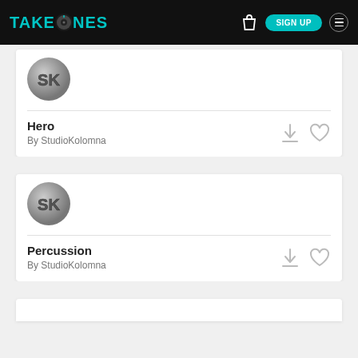TAKETONES — SIGN UP
[Figure (logo): SK Studio logo circle, metallic silver with letters SK]
Hero
By StudioKolomna
[Figure (logo): SK Studio logo circle, metallic silver with letters SK]
Percussion
By StudioKolomna